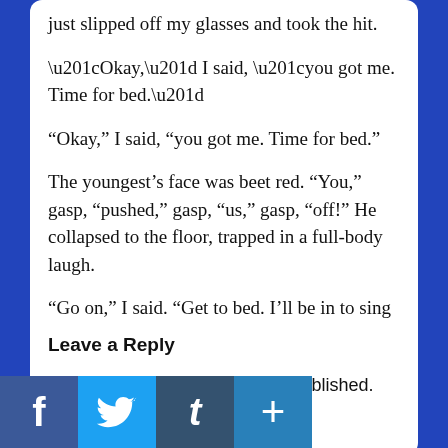just slipped off my glasses and took the hit.
“Okay,” I said, “you got me. Time for bed.”
The youngest’s face was beet red. “You,” gasp, “pushed,” gasp, “us,” gasp, “off!” He collapsed to the floor, trapped in a full-body laugh.
“Go on,” I said. “Get to bed. I’ll be in to sing in a minute.”
I know, I know. I shouldn’t be pushing my kids off couches, but it sure was fun.
Leave a Reply
Your email address will not be published. Required fields are marked *
[Figure (infographic): Social sharing buttons: Facebook (f), Twitter (bird), Tumblr (t), Plus (+)]